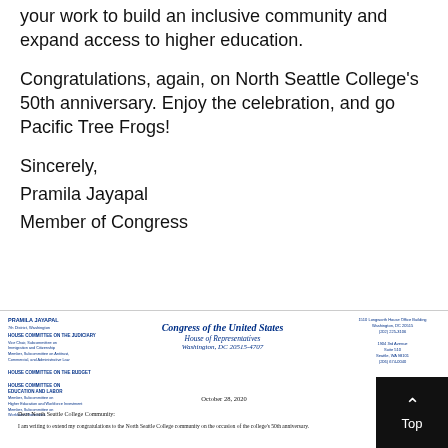your work to build an inclusive community and expand access to higher education.
Congratulations, again, on North Seattle College's 50th anniversary. Enjoy the celebration, and go Pacific Tree Frogs!
Sincerely,
Pramila Jayapal
Member of Congress
[Figure (other): Congressional letterhead for Pramila Jayapal, 7th District Washington, showing House committee memberships on left, Congress of the United States House of Representatives Washington DC 20515-4707 in center, and office address on right. Dated October 28, 2020 with salutation 'Dear North Seattle College Community:' and opening line of letter.]